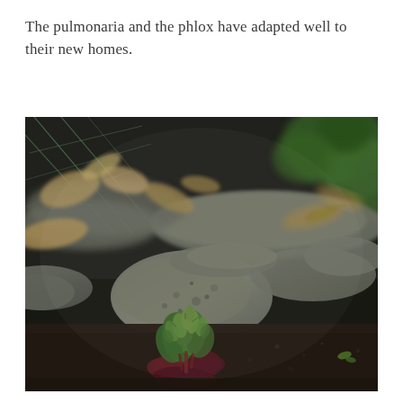The pulmonaria and the phlox have adapted well to their new homes.
[Figure (photo): A close-up garden photograph showing a small plant with green and reddish-purple leaves emerging from dark soil, surrounded by flat grey stones and dried fallen leaves, with a wire fence visible in the background and green foliage out of focus in the upper right.]